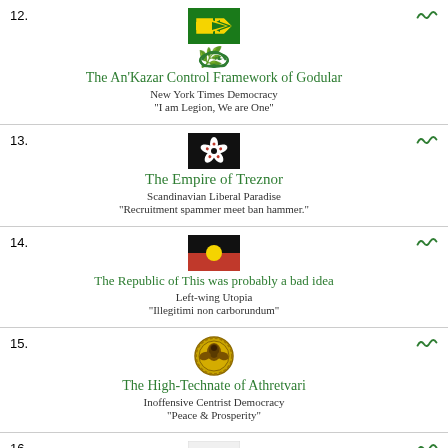12. The An'Kazar Control Framework of Godular | New York Times Democracy | "I am Legion, We are One"
13. The Empire of Treznor | Scandinavian Liberal Paradise | "Recruitment spammer meet ban hammer."
14. The Republic of This was probably a bad idea | Left-wing Utopia | "Illegitimi non carborundum"
15. The High-Technate of Athretvari | Inoffensive Centrist Democracy | "Peace & Prosperity"
16. (flag shown, wreath shown)